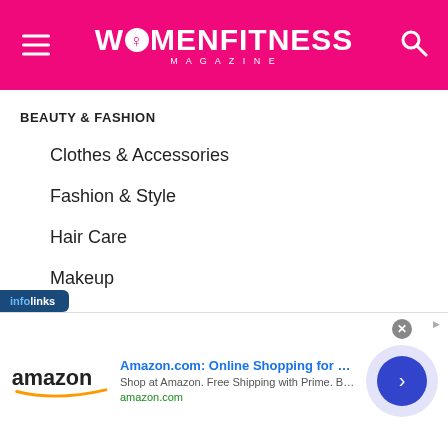Women Fitness Magazine
BEAUTY & FASHION
Clothes & Accessories
Fashion & Style
Hair Care
Makeup
Oral Care
Skin & Body
[Figure (screenshot): Infolinks ad banner with Amazon advertisement: 'Amazon.com: Online Shopping for Everyone - Shop at Amazon. Free Shipping with Prime. Best Deals Ever! - amazon.com']